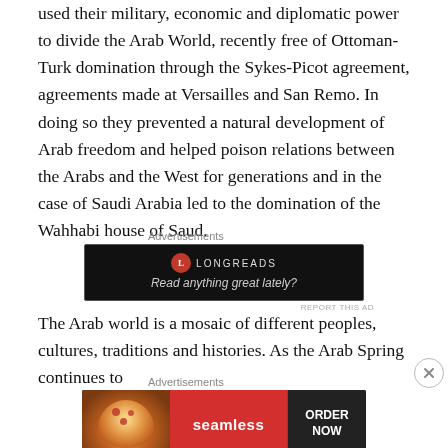used their military, economic and diplomatic power to divide the Arab World, recently free of Ottoman-Turk domination through the Sykes-Picot agreement, agreements made at Versailles and San Remo. In doing so they prevented a natural development of Arab freedom and helped poison relations between the Arabs and the West for generations and in the case of Saudi Arabia led to the domination of the Wahhabi house of Saud.
[Figure (other): Advertisement banner for Longreads: dark background with Longreads logo and text 'Read anything great lately?']
The Arab world is a mosaic of different peoples, cultures, traditions and histories. As the Arab Spring continues to
[Figure (other): Advertisement banner for Seamless food delivery: pizza image on left, red Seamless logo in center, 'ORDER NOW' button on right]